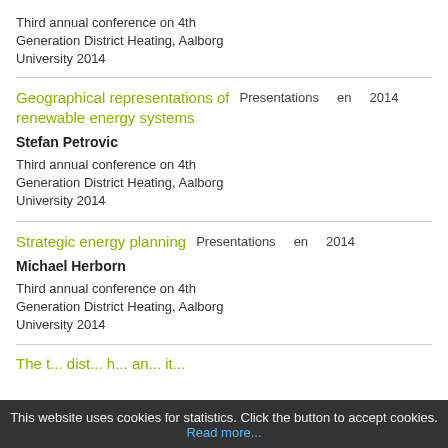Third annual conference on 4th Generation District Heating, Aalborg University 2014
Geographical representations of renewable energy systems
Presentations   en   2014
Stefan Petrovic
Third annual conference on 4th Generation District Heating, Aalborg University 2014
Strategic energy planning
Presentations   en   2014
Michael Herborn
Third annual conference on 4th Generation District Heating, Aalborg University 2014
The t... dist... h... an... it...
This website uses cookies for statistics. Click the button to accept cookies. Read more...